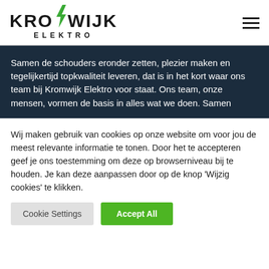[Figure (logo): Kromwijk Elektro logo with green lightning bolt and bold black text]
Samen de schouders eronder zetten, plezier maken en tegelijkertijd topkwaliteit leveren, dat is in het kort waar ons team bij Kromwijk Elektro voor staat. Ons team, onze mensen, vormen de basis in alles wat we doen. Samen
Wij maken gebruik van cookies op onze website om voor jou de meest relevante informatie te tonen. Door het te accepteren geef je ons toestemming om deze op browserniveau bij te houden. Je kan deze aanpassen door op de knop 'Wijzig cookies' te klikken.
Cookie Settings
Accept All